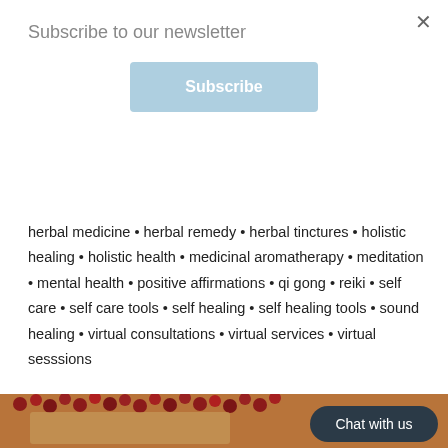Subscribe to our newsletter
Subscribe
herbal medicine • herbal remedy • herbal tinctures • holistic healing • holistic health • medicinal aromatherapy • meditation • mental health • positive affirmations • qi gong • reiki • self care • self care tools • self healing • self healing tools • sound healing • virtual consultations • virtual services • virtual sesssions
[Figure (photo): Photo of dried red berries/rose hips arranged in a heart shape on a burlap background with a dark 'Chat with us' button overlay]
Chat with us